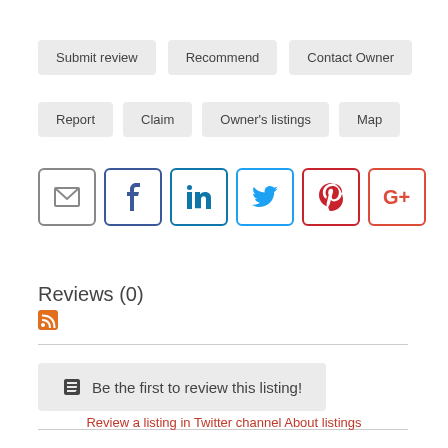Submit review
Recommend
Contact Owner
Report
Claim
Owner's listings
Map
[Figure (infographic): Social sharing icons: Email, Facebook, LinkedIn, Twitter, Pinterest, Google+]
Reviews (0)
Be the first to review this listing!
Review a listing in Twitter channel About listings